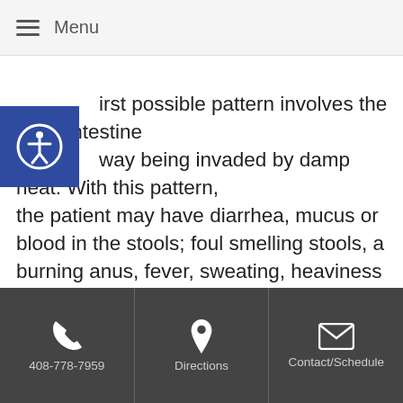☰ Menu
irst possible pattern involves the large intestine way being invaded by damp heat. With this pattern, the patient may have diarrhea, mucus or blood in the stools; foul smelling stools, a burning anus, fever, sweating, heaviness of the limbs and thirst without a desire to drink. This can be caused by ingesting too many hot and greasy foods, accompanied by excessive worry and anxiety over a long period of time. The treatment would involve clearing the heat and draining the dampness. The patient would also need to make some lifestyle changes.
408-778-7959   Directions   Contact/Schedule